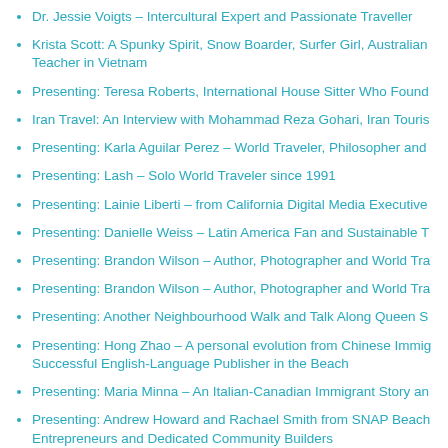Dr. Jessie Voigts – Intercultural Expert and Passionate Traveller
Krista Scott: A Spunky Spirit, Snow Boarder, Surfer Girl, Australian Teacher in Vietnam
Presenting: Teresa Roberts, International House Sitter Who Found
Iran Travel: An Interview with Mohammad Reza Gohari, Iran Touris
Presenting: Karla Aguilar Perez – World Traveler, Philosopher and
Presenting: Lash – Solo World Traveler since 1991
Presenting: Lainie Liberti – from California Digital Media Executive
Presenting: Danielle Weiss – Latin America Fan and Sustainable T
Presenting: Brandon Wilson – Author, Photographer and World Tra
Presenting: Brandon Wilson – Author, Photographer and World Tra
Presenting: Another Neighbourhood Walk and Talk Along Queen S
Presenting: Hong Zhao – A personal evolution from Chinese Immig Successful English-Language Publisher in the Beach
Presenting: Maria Minna – An Italian-Canadian Immigrant Story an
Presenting: Andrew Howard and Rachael Smith from SNAP Beach Entrepreneurs and Dedicated Community Builders
A History Tour of the Beach and a Mission of Mercy with Gene Don